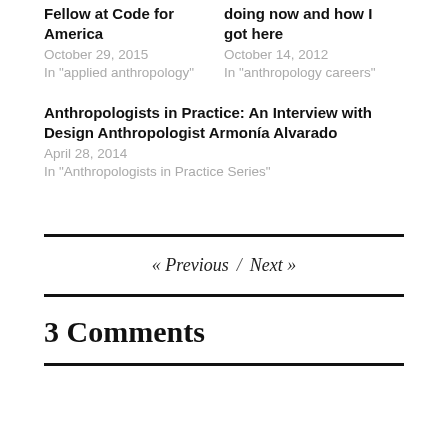Fellow at Code for America
October 29, 2015
In "applied anthropology"
doing now and how I got here
October 14, 2012
In "anthropology careers"
Anthropologists in Practice: An Interview with Design Anthropologist Armonía Alvarado
April 28, 2014
In "Anthropologists in Practice Series"
« Previous / Next »
3 Comments